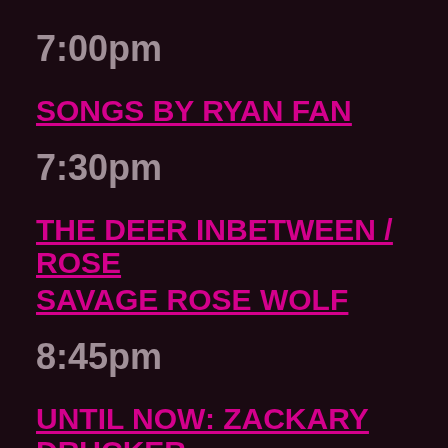7:00pm
SONGS BY RYAN FAN
7:30pm
THE DEER INBETWEEN / ROSE SAVAGE ROSE WOLF
8:45pm
UNTIL NOW: ZACKARY DRUCKER RETROSPECTIVE
10:30pm
AMIABLE NITRATE / ...